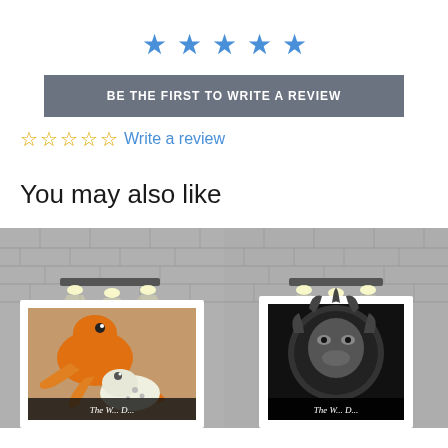[Figure (other): Five blue filled star icons in a row]
BE THE FIRST TO WRITE A REVIEW
☆☆☆☆☆ Write a review
You may also like
[Figure (photo): Framed art print of an orange gecko/leopard gecko on a tan background, displayed on a grey brick wall with spotlights]
[Figure (photo): Framed art print of a black and white lion portrait on dark background, displayed on a grey brick wall with spotlights]